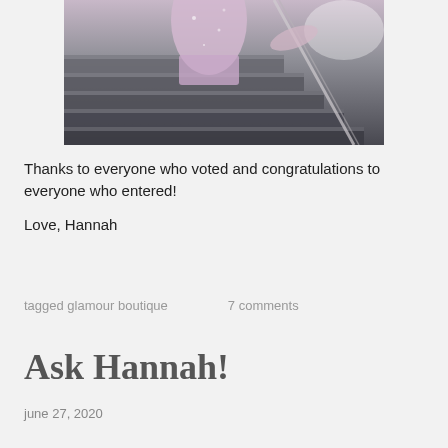[Figure (photo): Partial photo of a person in a pink/lavender sparkly outfit on stairs, viewed from below/mid, with a handrail visible]
Thanks to everyone who voted and congratulations to everyone who entered!
Love, Hannah
tagged glamour boutique     7 comments
Ask Hannah!
june 27, 2020